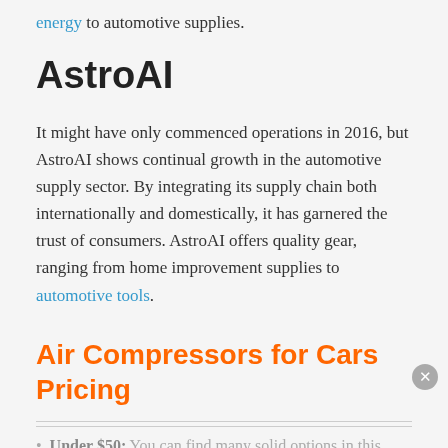energy to automotive supplies.
AstroAI
It might have only commenced operations in 2016, but AstroAI shows continual growth in the automotive supply sector. By integrating its supply chain both internationally and domestically, it has garnered the trust of consumers. AstroAI offers quality gear, ranging from home improvement supplies to automotive tools.
Air Compressors for Cars Pricing
Under $50: You can find many solid options in this